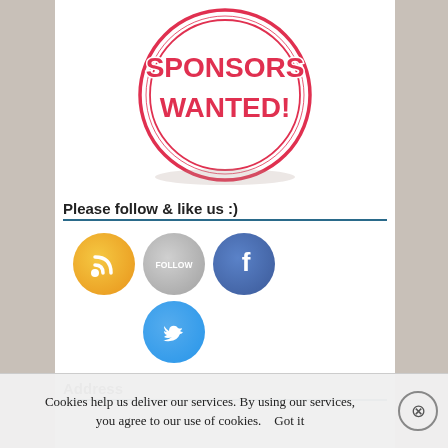[Figure (illustration): Sponsors Wanted stamp/badge image — a circular red-outlined stamp with text 'SPONSORS WANTED!' in bold red letters with white outline, on white background]
Please follow & like us :)
[Figure (infographic): Social media icons: RSS feed icon (orange circle), Follow button (gray circle), Facebook icon (blue circle with f), Twitter bird icon (light blue circle)]
Address
Cookies help us deliver our services. By using our services, you agree to our use of cookies.    Got it